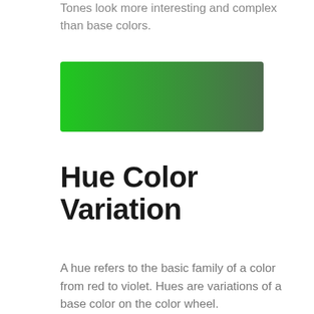Tones look more interesting and complex than base colors.
[Figure (illustration): A horizontal rectangle showing a gradient from bright green on the left to dark olive/grey-green on the right.]
Hue Color Variation
A hue refers to the basic family of a color from red to violet. Hues are variations of a base color on the color wheel.